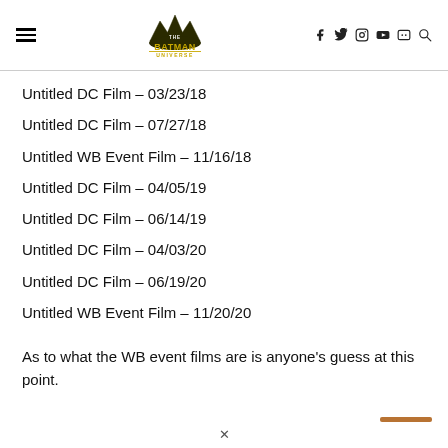The Batman Universe — navigation header with logo and social icons
Untitled DC Film – 03/23/18
Untitled DC Film – 07/27/18
Untitled WB Event Film – 11/16/18
Untitled DC Film – 04/05/19
Untitled DC Film – 06/14/19
Untitled DC Film – 04/03/20
Untitled DC Film – 06/19/20
Untitled WB Event Film – 11/20/20
As to what the WB event films are is anyone's guess at this point.